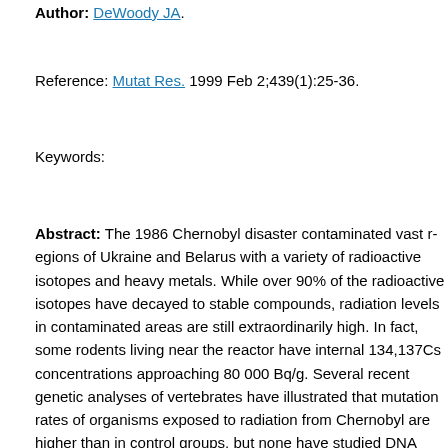Author: DeWoody JA.
Reference: Mutat Res. 1999 Feb 2;439(1):25-36.
Keywords:
Abstract: The 1986 Chernobyl disaster contaminated vast regions of Ukraine and Belarus with a variety of radioactive isotopes and heavy metals. While over 90% of the radioactive isotopes have decayed to stable compounds, radiation levels in contaminated areas are still extraordinarily high. In fact, some rodents living near the reactor have internal 134,137Cs concentrations approaching 80 000 Bq/g. Several recent genetic analyses of vertebrates have illustrated that mutation rates of organisms exposed to radiation from Chernobyl are higher than in control groups, but none have studied DNA sequences directly. Nucleotide sequences of rodent mitochondrial genes were once reported to have been hypervariable, but those results were subsequently retracted. Herein, I report the results of a pilot study to determine the extent of nucleotide variation at the p53 gene